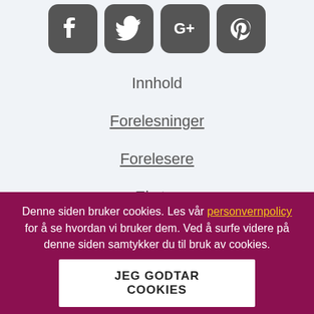[Figure (other): Four social media icons (Facebook, Twitter, Google+, Pinterest) as rounded square dark grey buttons]
Innhold
Forelesninger
Forelesere
Ekstra
Hjelp
Denne siden bruker cookies. Les vår personvernpolicy for å se hvordan vi bruker dem. Ved å surfe videre på denne siden samtykker du til bruk av cookies.
JEG GODTAR COOKIES